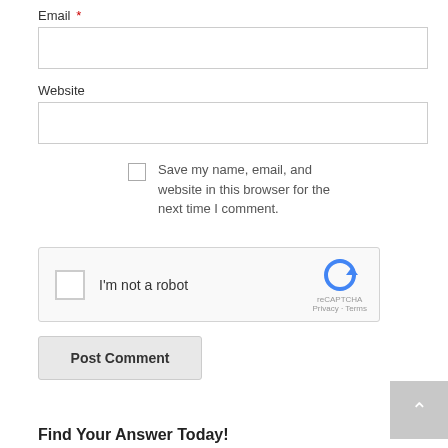Email *
Website
Save my name, email, and website in this browser for the next time I comment.
[Figure (other): reCAPTCHA widget with checkbox labeled I'm not a robot, reCAPTCHA logo, Privacy and Terms links]
Post Comment
Find Your Answer Today!